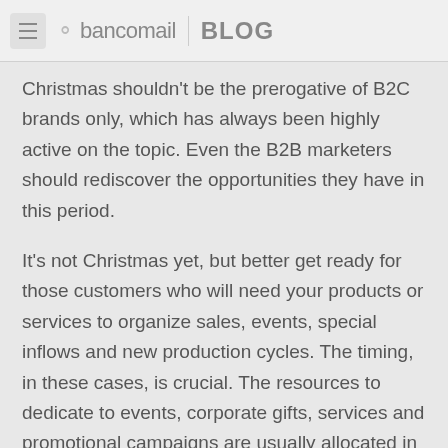bancomail BLOG
Christmas shouldn't be the prerogative of B2C brands only, which has always been highly active on the topic. Even the B2B marketers should rediscover the opportunities they have in this period.
It's not Christmas yet, but better get ready for those customers who will need your products or services to organize sales, events, special inflows and new production cycles. The timing, in these cases, is crucial. The resources to dedicate to events, corporate gifts, services and promotional campaigns are usually allocated in this period, which is important even for the upcoming year's business forecast.
Email Marketing allows strongly profiled